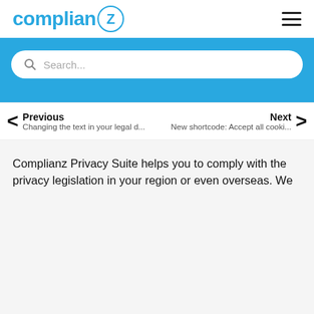complianz
[Figure (screenshot): Blue search bar section with search input field containing placeholder text 'Search...' and a search icon]
Previous
Changing the text in your legal d...
Next
New shortcode: Accept all cooki...
Complianz Privacy Suite helps you to comply with the privacy legislation in your region or even overseas. We